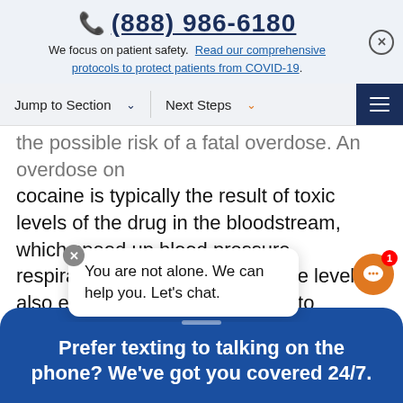(888) 986-6180
We focus on patient safety. Read our comprehensive protocols to protect patients from COVID-19.
Jump to Section  ∨    Next Steps  ∨
the possible risk of a fatal overdose. An overdose on cocaine is typically the result of toxic levels of the drug in the bloodstream, which speed up blood pressure, respiration, and heart rate. These levels also elevate body temperatures to dangerous levels. Heart attack, stroke, and seizures are all potential complications of a cocaine overdose... headache, tumors... blood pressure, hallucinations, and chest pain may
You are not alone. We can help you. Let's chat.
Prefer texting to talking on the phone? We've got you covered 24/7.